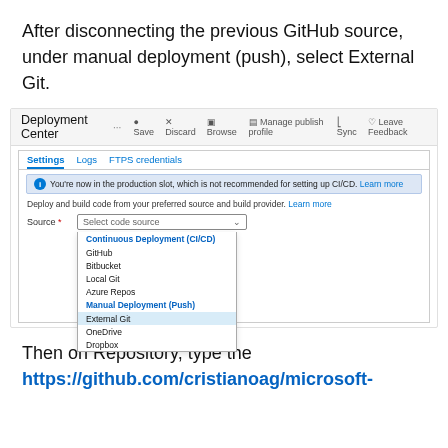After disconnecting the previous GitHub source, under manual deployment (push), select External Git.
[Figure (screenshot): Azure Deployment Center screenshot showing the Settings tab with a dropdown source selector open. The dropdown shows options: Continuous Deployment (CI/CD) heading, GitHub, Bitbucket, Local Git, Azure Repos, Manual Deployment (Push) heading, External Git (highlighted), OneDrive, Dropbox.]
Then on Repository, type the https://github.com/cristianoag/microsoft-